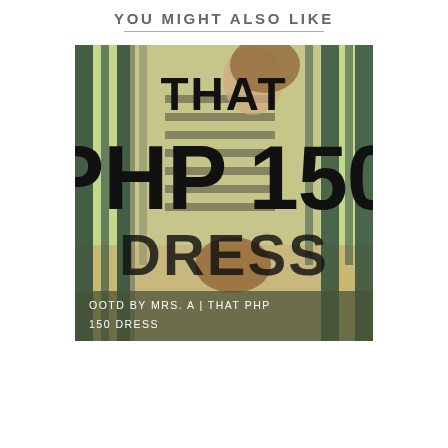YOU MIGHT ALSO LIKE
[Figure (photo): Photo of a woman in a striped dress holding a bag, standing in front of a fence with green background. Large bold text overlaid reads 'THAT PHP 150 DRESS'. Caption bar at bottom reads 'OOTD BY MRS. A | THAT PHP 150 DRESS'.]